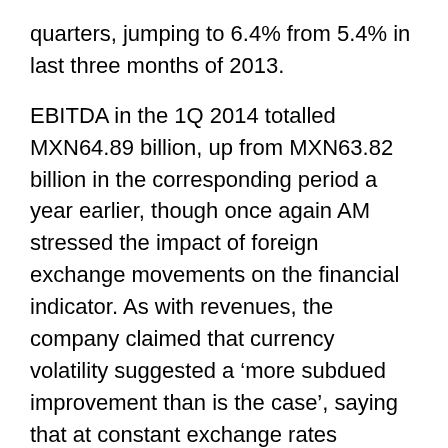quarters, jumping to 6.4% from 5.4% in last three months of 2013.
EBITDA in the 1Q 2014 totalled MXN64.89 billion, up from MXN63.82 billion in the corresponding period a year earlier, though once again AM stressed the impact of foreign exchange movements on the financial indicator. As with revenues, the company claimed that currency volatility suggested a ‘more subdued improvement than is the case’, saying that at constant exchange rates EBITDA increased by 6.7% year-on-year. Operating profits of MXN38.72 billion (flat year-on-year) were, however, partly offset by a comprehensive financing cost of MXN8.35 billion that predominantly represented net interest payments on the company’s debt. By comparison, in 1Q13 AM had posted a MXN1.4 billion financing income, generated by sizable foreign exchange gains. In light of this, net income for the first three months of 2014 was down by 48.3% year-on-year, at MXN13.89 billion, compared to a net profit of